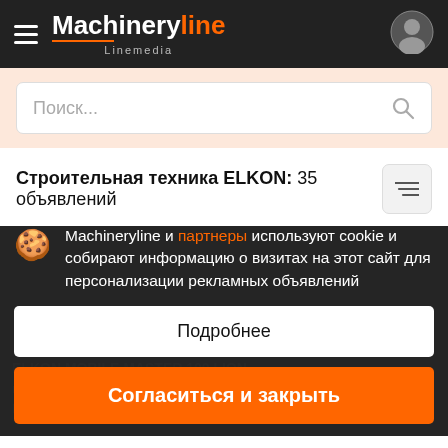Machineryline Linemedia
Поиск...
Строительная техника ELKON: 35 объявлений
Machineryline и партнеры используют cookie и собирают информацию о визитах на этот сайт для персонализации рекламных объявлений
Подробнее
Согласиться и закрыть